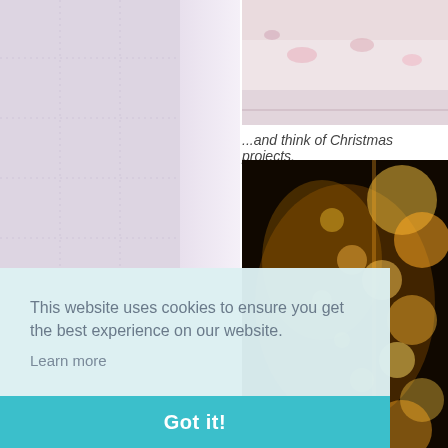[Figure (photo): Decorative lavender/purple patterned background with circular cross/flower motifs arranged in a grid pattern]
[Figure (photo): Partial view of fabric or paper with floral pattern, cropped at top]
...and think of Christmas projects.
[Figure (photo): Bokeh photo of warm fairy lights/Christmas lights in darkness, golden warm glow]
This website uses cookies to ensure you get the best experience on our website.
Learn more
Got it!